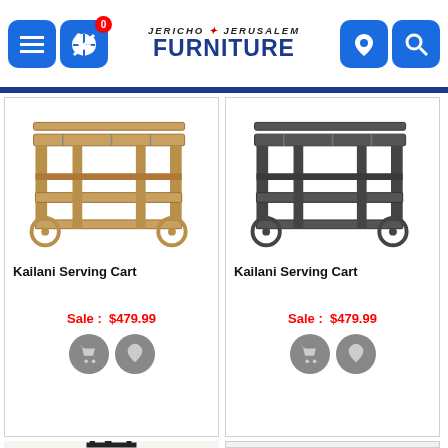JERICHO * JERUSALEM FURNITURE
[Figure (photo): Kailani Serving Cart in natural wood finish with two shelves and wheels]
Kailani Serving Cart
Sale : $479.99
[Figure (photo): Kailani Serving Cart in dark/grey finish with two shelves and wheels]
Kailani Serving Cart
Sale : $479.99
[Figure (photo): Partial view of a round top bar table with dark legs]
[Figure (photo): Partial view of two chairs with metal frames and orange seat cushions beside a table]